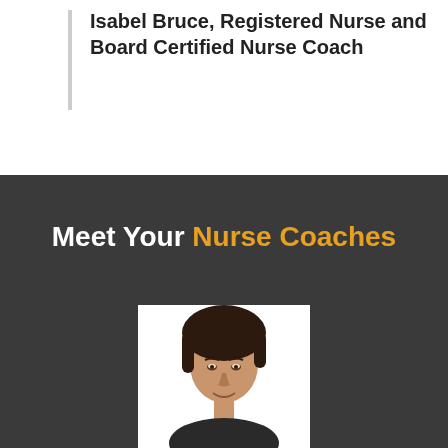Isabel Bruce, Registered Nurse and Board Certified Nurse Coach
Meet Your Nurse Coaches
[Figure (photo): Professional headshot of a woman with short dark hair, smiling, against a white background]